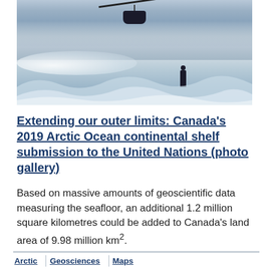[Figure (photo): Arctic scene with a helicopter or crane arm at top with equipment hanging, a lone person standing on a snow-covered frozen landscape, with misty snow blowing across the terrain and mountains visible in the background under a grey sky.]
Extending our outer limits: Canada's 2019 Arctic Ocean continental shelf submission to the United Nations (photo gallery)
Based on massive amounts of geoscientific data measuring the seafloor, an additional 1.2 million square kilometres could be added to Canada's land area of 9.98 million km².
Arctic
Geosciences
Maps